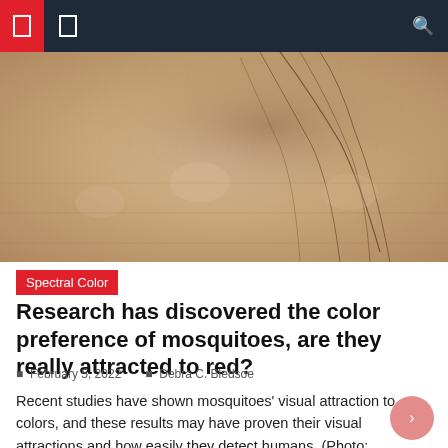Navigation bar with menu icons and search
[Figure (photo): Close-up macro photo of human skin showing fine hairs and skin texture in warm beige/tan tones]
Spectral Color
Research has discovered the color preference of mosquitoes, are they really attracted to red?
February 5, 2022  |  Debra C. Bledsoe
Recent studies have shown mosquitoes' visual attraction to colors, and these results may have proven their visual attractions and how easily they detect humans. (Photo: MANJUNATH KIRAN/AFP via Getty Images) Colors that attract mosquitoes Scientists from the University of Washington have conducted new research that has revealed certain colors that mosquitoes are usually attracted to, [...]